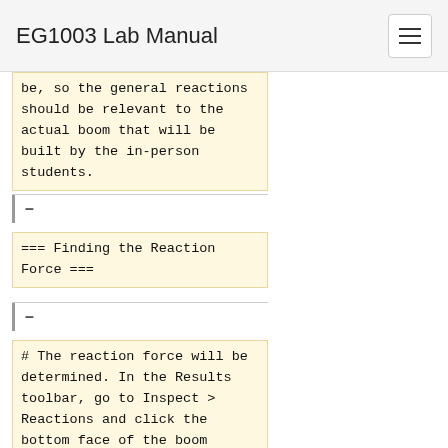EG1003 Lab Manual
be, so the general reactions should be relevant to the actual boom that will be built by the in-person students.
=== Finding the Reaction Force ===
# The reaction force will be determined. In the Results toolbar, go to Inspect > Reactions and click the bottom face of the boom anchor as the